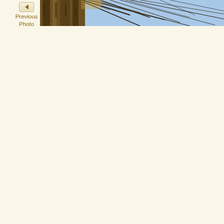[Figure (photo): A partial view of a nature photograph showing bare tree branches against a blue sky, visible in a horizontal strip at the top right of the page.]
Previous Photo